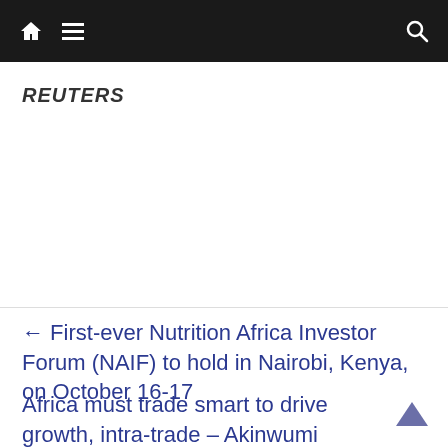Navigation bar with home, menu, and search icons
REUTERS
← First-ever Nutrition Africa Investor Forum (NAIF) to hold in Nairobi, Kenya, on October 16-17
Africa must trade smart to drive growth, intra-trade – Akinwumi Adesina →